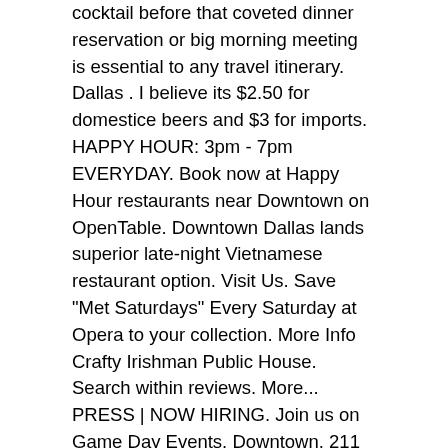cocktail before that coveted dinner reservation or big morning meeting is essential to any travel itinerary. Dallas . I believe its $2.50 for domestice beers and $3 for imports. HAPPY HOUR: 3pm - 7pm EVERYDAY. Book now at Happy Hour restaurants near Downtown on OpenTable. Downtown Dallas lands superior late-night Vietnamese restaurant option. Visit Us. Save "Met Saturdays" Every Saturday at Opera to your collection. More Info Crafty Irishman Public House. Search within reviews. More... PRESS | NOW HIRING. Join us on Game Day Events. Downtown. 211 Ervay Street. Sunday - Thursday 4:00pm - 9:30pm. You can't beat free food and the drink specials are pretty cheap as well. Knockout … 1445 Ross Ave. Dallas, TX 75202. Sign up Sign in. More Info Dallas Fish Market. The best restaurant and bar in Downtown Dallas Happy Hour | Frankie's Downtown Dallas Crafty new Irish pub fulfills all kinds of needs for downtown Dallas. This place gets pretty pack after 5 mainly because they serve free pizza during happy hour! Verified in 2018 Verified in 2018 Happiest Hour is Dallas' largest patio bar and lounge, featuring a rooftop deck with an impeccable view and four full-service bars spread out over 12,000 square feet of indoor and outdoor bliss. Popular hours. BOOK A TABLE. Happy Hour Menu. 650 N Pearl St. 214.979.9000. 214.744.2474. PARLIAMENT //